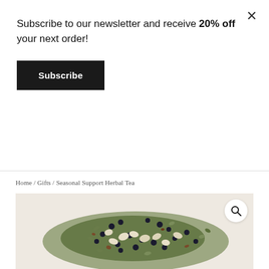Subscribe to our newsletter and receive 20% off your next order!
Subscribe
×
Home / Gifts / Seasonal Support Herbal Tea
[Figure (photo): Loose leaf herbal tea mixture spread on a light beige background, containing dark berries, green herbs, and light-colored flower petals]